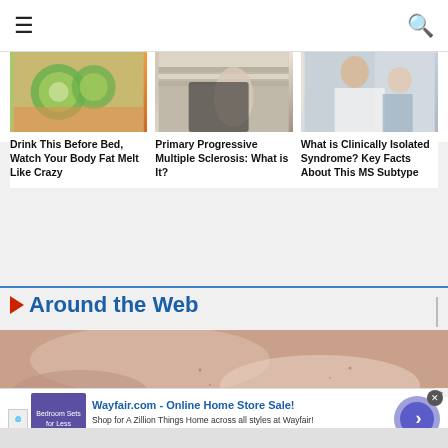Navigation bar with hamburger menu and search icon
[Figure (photo): Photo of cucumber slices in water/drink container on kitchen counter]
Drink This Before Bed, Watch Your Body Fat Melt Like Crazy
[Figure (photo): Person in wheelchair, medical consultation scene with window blinds]
Primary Progressive Multiple Sclerosis: What is It?
[Figure (photo): Doctor in white coat talking to female patient]
What is Clinically Isolated Syndrome? Key Facts About This MS Subtype
Around the Web
[Figure (photo): Close-up texture photo, pinkish skin or surface]
Wayfair.com - Online Home Store Sale! Shop for A Zillion Things Home across all styles at Wayfair! www.wayfair.com